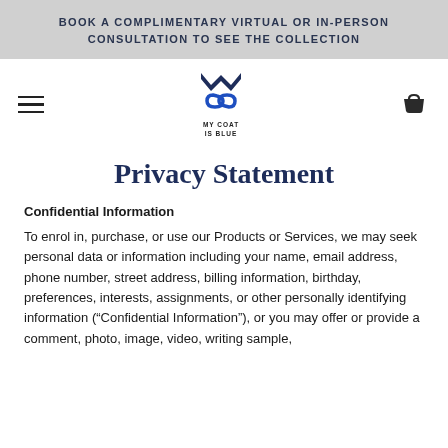BOOK A COMPLIMENTARY VIRTUAL OR IN-PERSON CONSULTATION TO SEE THE COLLECTION
[Figure (logo): My Coat Is Blue brand logo with stylized M and S letterform in dark navy and blue, with text MY COAT IS BLUE below]
Privacy Statement
Confidential Information
To enrol in, purchase, or use our Products or Services, we may seek personal data or information including your name, email address, phone number, street address, billing information, birthday, preferences, interests, assignments, or other personally identifying information (“Confidential Information”), or you may offer or provide a comment, photo, image, video, writing sample,